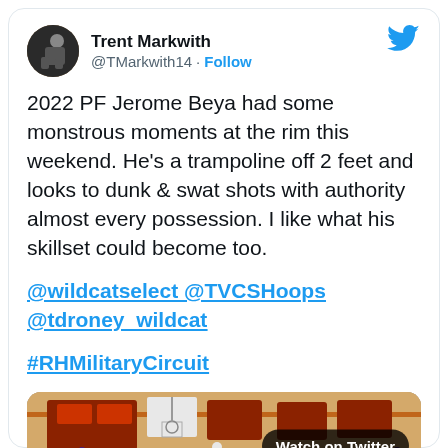[Figure (photo): Twitter/X profile avatar of Trent Markwith, showing a person sitting on what appears to be bleachers, circular crop]
Trent Markwith
@TMarkwith14 · Follow
[Figure (logo): Twitter blue bird logo in top right corner]
2022 PF Jerome Beya had some monstrous moments at the rim this weekend. He's a trampoline off 2 feet and looks to dunk & swat shots with authority almost every possession. I like what his skillset could become too.
@wildcatselect @TVCSHoops @tdroney_wildcat
#RHMilitaryCircuit
[Figure (screenshot): Basketball game video thumbnail showing players in a gym with orange and white decor. A 'Watch on Twitter' badge overlays the image.]